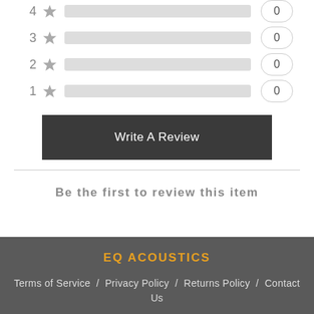[Figure (infographic): Rating bars for 4, 3, 2, 1 stars each showing a gray horizontal bar and a count of 0]
Write A Review
Be the first to review this item
EQ ACOUSTICS
Terms of Service / Privacy Policy / Returns Policy / Contact Us